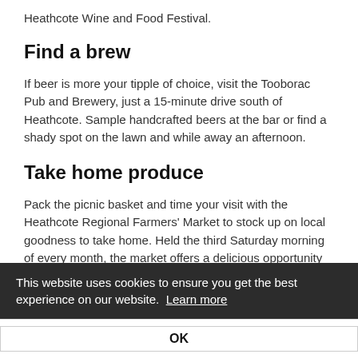Heathcote Wine and Food Festival.
Find a brew
If beer is more your tipple of choice, visit the Tooborac Pub and Brewery, just a 15-minute drive south of Heathcote. Sample handcrafted beers at the bar or find a shady spot on the lawn and while away an afternoon.
Take home produce
Pack the picnic basket and time your visit with the Heathcote Regional Farmers' Market to stock up on local goodness to take home. Held the third Saturday morning of every month, the market offers a delicious opportunity to sample local produce – fruit and vegetables, bread, cheese, eggs, olives, wine and more – and chat
This website uses cookies to ensure you get the best experience on our website.  Learn more
OK